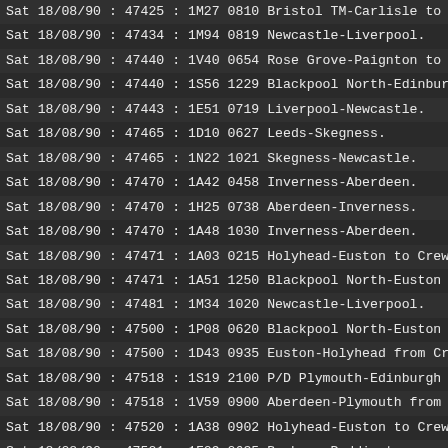| Sat 18/08/90 | : | 47425 | : | 1M27 | 0810 | Bristol TM-Carlisle to |
| Sat 18/08/90 | : | 47434 | : | 1M94 | 0819 | Newcastle-Liverpool. |
| Sat 18/08/90 | : | 47440 | : | 1V40 | 0654 | Rose Grove-Paignton to |
| Sat 18/08/90 | : | 47440 | : | 1S56 | 1229 | Blackpool North-Edinbur |
| Sat 18/08/90 | : | 47443 | : | 1E51 | 0719 | Liverpool-Newcastle. |
| Sat 18/08/90 | : | 47465 | : | 1D10 | 0627 | Leeds-Skegness. |
| Sat 18/08/90 | : | 47465 | : | 1N22 | 1021 | Skegness-Newcastle. |
| Sat 18/08/90 | : | 47470 | : | 1A42 | 0458 | Inverness-Aberdeen. |
| Sat 18/08/90 | : | 47470 | : | 1H25 | 0738 | Aberdeen-Inverness. |
| Sat 18/08/90 | : | 47470 | : | 1A48 | 1030 | Inverness-Aberdeen. |
| Sat 18/08/90 | : | 47471 | : | 1A03 | 0215 | Holyhead-Euston to Crew |
| Sat 18/08/90 | : | 47471 | : | 1A51 | 1250 | Blackpool North-Euston |
| Sat 18/08/90 | : | 47481 | : | 1M34 | 1020 | Newcastle-Liverpool. |
| Sat 18/08/90 | : | 47500 | : | 1P08 | 0620 | Blackpool North-Euston |
| Sat 18/08/90 | : | 47500 | : | 1D43 | 0935 | Euston-Holyhead from Cr |
| Sat 18/08/90 | : | 47518 | : | 1S19 | 2100 | P/D Plymouth-Edinburgh |
| Sat 18/08/90 | : | 47518 | : | 1V59 | 0900 | Aberdeen-Plymouth from |
| Sat 18/08/90 | : | 47520 | : | 1A38 | 0902 | Holyhead-Euston to Crew |
| Sat 18/08/90 | : | 47521 | : | 1F09 | 0635 | Banbury-Paddington. |
| Sat 18/08/90 | : | 47525 | : | 1V46 | 0918 | Manchester P-Paignton f |
| Sat 18/08/90 | : | 47527 | : | 1A33 | 0708 | Aberystwyth-Euston fr |